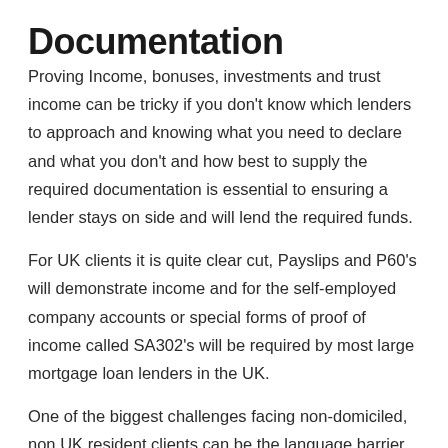Documentation
Proving Income, bonuses, investments and trust income can be tricky if you don't know which lenders to approach and knowing what you need to declare and what you don't and how best to supply the required documentation is essential to ensuring a lender stays on side and will lend the required funds.
For UK clients it is quite clear cut, Payslips and P60's will demonstrate income and for the self-employed company accounts or special forms of proof of income called SA302's will be required by most large mortgage loan lenders in the UK.
One of the biggest challenges facing non-domiciled, non UK resident clients can be the language barrier